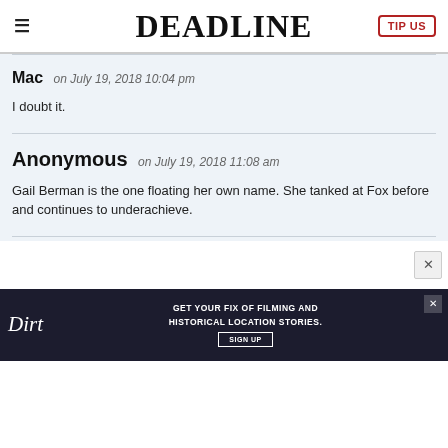DEADLINE
Mac on July 19, 2018 10:04 pm
I doubt it.
Anonymous on July 19, 2018 11:08 am
Gail Berman is the one floating her own name. She tanked at Fox before and continues to underachieve.
[Figure (other): Dirt advertisement banner: GET YOUR FIX OF FILMING AND HISTORICAL LOCATION STORIES. SIGN UP]